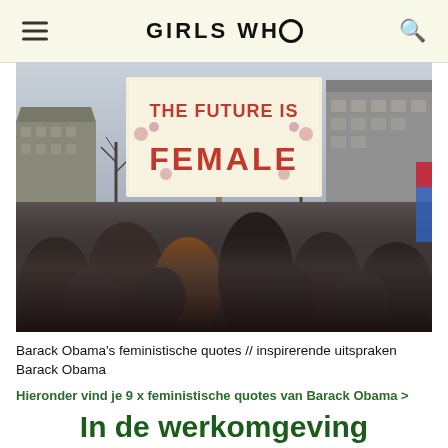GIRLS WHO
[Figure (photo): Protest crowd with a sign reading 'THE FUTURE IS FEMALE' decorated with flowers, city buildings in background, winter scene with bare trees]
Barack Obama's feministische quotes // inspirerende uitspraken Barack Obama
Hieronder vind je 9 x feministische quotes van Barack Obama >
In de werkomgeving